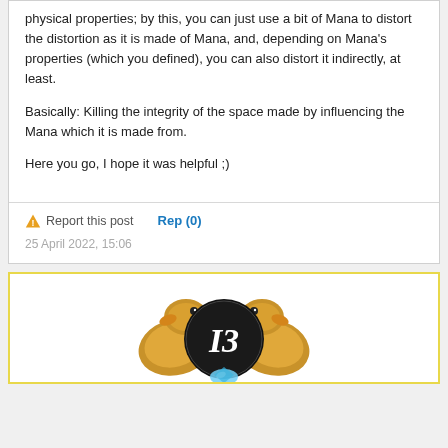physical properties; by this, you can just use a bit of Mana to distort the distortion as it is made of Mana, and, depending on Mana's properties (which you defined), you can also distort it indirectly, at least.
Basically: Killing the integrity of the space made by influencing the Mana which it is made from.
Here you go, I hope it was helpful ;)
Report this post
Rep (0)
25 April 2022, 15:06
[Figure (illustration): User avatar showing a cartoon duck/bird character surrounding a circular badge with the letter 'I3' in serif font on a black background, with a colorful gem at the bottom]